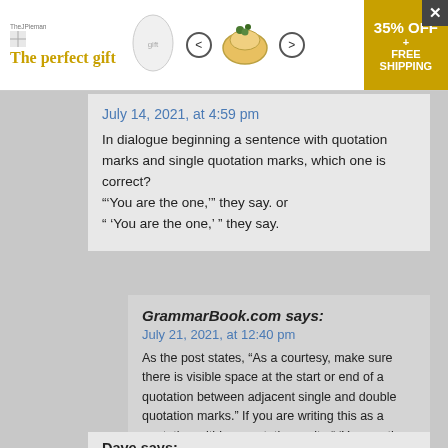[Figure (other): Advertisement banner for The Perfect Gift with navigation arrows, bowl image, and 35% OFF + FREE SHIPPING offer box]
July 14, 2021, at 4:59 pm
In dialogue beginning a sentence with quotation marks and single quotation marks, which one is correct?
"'You are the one,'" they say. or
" 'You are the one,' " they say.
GrammarBook.com says:
July 21, 2021, at 12:40 pm
As the post states, “As a courtesy, make sure there is visible space at the start or end of a quotation between adjacent single and double quotation marks.” If you are writing this as a quotation within a quotation, write “ ‘You are the one,’ they say.”
Dave says: